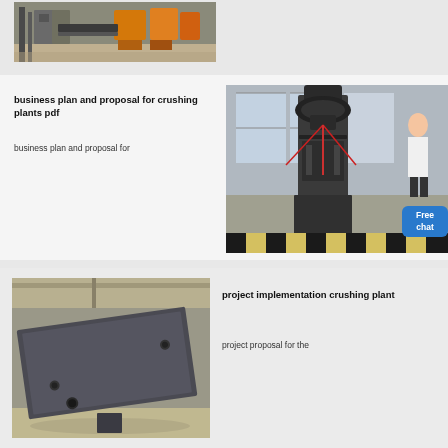[Figure (photo): Industrial factory interior showing machinery, conveyor equipment and yellow crushers/processing machines]
business plan and proposal for crushing plants pdf
business plan and proposal for
[Figure (photo): Large industrial vertical crusher machine inside a factory building, with a woman and a blue Free chat badge overlay]
[Figure (photo): Large metal industrial plate or screen component inside a factory workshop]
project implementation crushing plant
project proposal for the